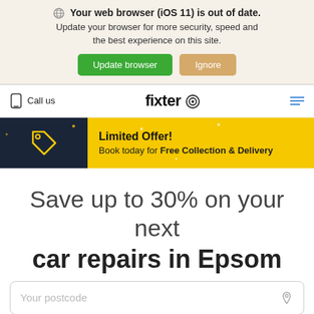🌐 Your web browser (iOS 11) is out of date. Update your browser for more security, speed and the best experience on this site. Update browser | Ignore
Call us   fixter ⊙   ☰
Limited Offer! Book today for Free Collection & Delivery
Save up to 30% on your next car repairs in Epsom
Your postcode